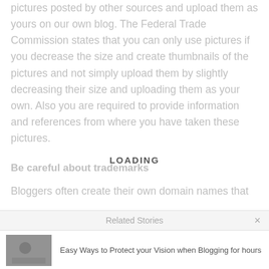pictures posted by other sources and upload them as yours on our own blog. The Federal Trade Commission states that you can only use pictures if you decrease the size and create thumbnails of the pictures and not simply upload them by slightly decreasing their size and uploading them as your own. Also you are required to provide information and references from where you have taken these pictures.
Be careful about trademarks
Bloggers often create their own domain names that
LOADING
Related Stories
Easy Ways to Protect your Vision when Blogging for hours
Top reasons why numerous bloggers never earn from